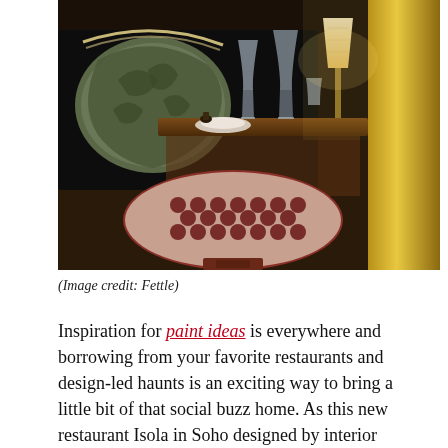[Figure (photo): Restaurant interior showing a patterned red and cream upholstered chair back in foreground, a dark leather banquette with ornate decorative cushion, a wooden dining table set with wine glasses, plates, and a small table lamp with cream shade, and a tall yellow cylindrical column on the right.]
(Image credit: Fettle)
Inspiration for paint ideas is everywhere and borrowing from your favorite restaurants and design-led haunts is an exciting way to bring a little bit of that social buzz home. As this new restaurant Isola in Soho designed by interior architects Fettle proves, gloss is back and is looking like a huge interior design trend for 2022.